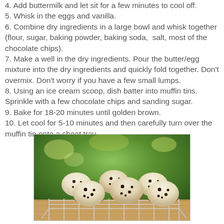4. Add buttermilk and let sit for a few minutes to cool off. 5. Whisk in the eggs and vanilla. 6. Combine dry ingredients in a large bowl and whisk together (flour, sugar, baking powder, baking soda,  salt, most of the chocolate chips). 7. Make a well in the dry ingredients. Pour the butter/egg mixture into the dry ingredients and quickly fold together. Don't overmix. Don't worry if you have a few small lumps. 8. Using an ice cream scoop, dish batter into muffin tins. Sprinkle with a few chocolate chips and sanding sugar. 9. Bake for 18-20 minutes until golden brown. 10. Let cool for 5-10 minutes and then carefully turn over the muffin tin onto a sheet tray.
[Figure (photo): A photo of chocolate chip muffins in brown paper cups arranged on a wire cooling rack, with green foliage in the background.]